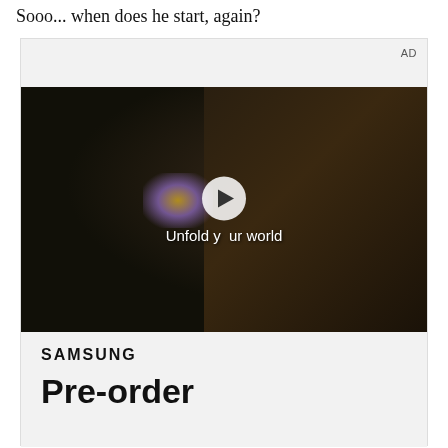Sooo... when does he start, again?
[Figure (screenshot): Samsung advertisement showing a video player with a woman holding a Samsung foldable phone inside a car interior. The video overlay reads 'Unfold your world' with a play button. Below the video is a Samsung logo and 'Pre-order' text. An 'AD' label appears in the top right corner of the ad unit.]